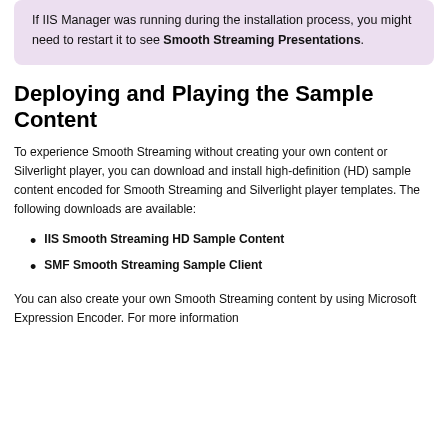If IIS Manager was running during the installation process, you might need to restart it to see Smooth Streaming Presentations.
Deploying and Playing the Sample Content
To experience Smooth Streaming without creating your own content or Silverlight player, you can download and install high-definition (HD) sample content encoded for Smooth Streaming and Silverlight player templates. The following downloads are available:
IIS Smooth Streaming HD Sample Content
SMF Smooth Streaming Sample Client
You can also create your own Smooth Streaming content by using Microsoft Expression Encoder. For more information